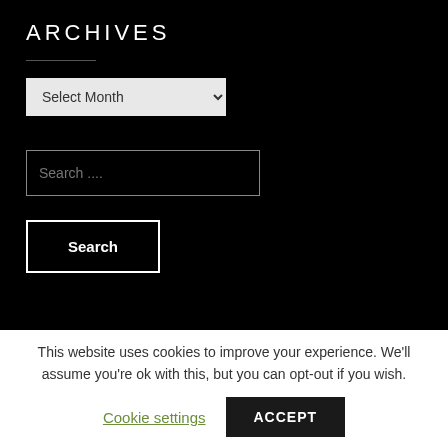ARCHIVES
Select Month
Search ....
Search
This website uses cookies to improve your experience. We'll assume you're ok with this, but you can opt-out if you wish.
Cookie settings
ACCEPT